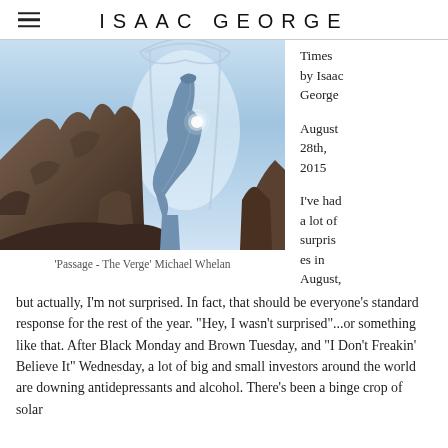ISAAC GEORGE
[Figure (illustration): Fantasy illustration of a robed figure standing on rocky cliffs holding a glowing orb, with a luminous arched portal behind them, pale blue sky background. Painting style artwork.]
'Passage - The Verge' Michael Whelan
Times by Isaac George
August 28th, 2015
I've had a lot of surprises in August,
but actually, I'm not surprised. In fact, that should be everyone's standard response for the rest of the year. "Hey, I wasn't surprised"...or something like that. After Black Monday and Brown Tuesday, and "I Don't Freakin' Believe It" Wednesday, a lot of big and small investors around the world are downing antidepressants and alcohol. There's been a binge crop of solar